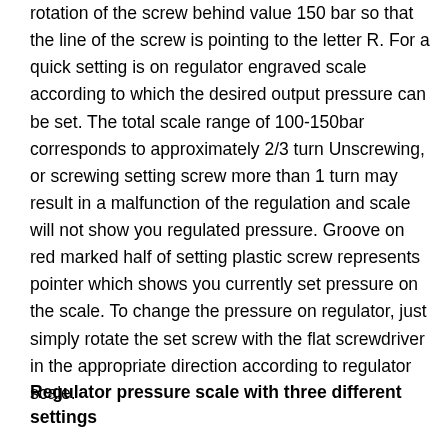rotation of the screw behind value 150 bar so that the line of the screw is pointing to the letter R. For a quick setting is on regulator engraved scale according to which the desired output pressure can be set. The total scale range of 100-150bar corresponds to approximately 2/3 turn Unscrewing, or screwing setting screw more than 1 turn may result in a malfunction of the regulation and scale will not show you regulated pressure. Groove on red marked half of setting plastic screw represents pointer which shows you currently set pressure on the scale. To change the pressure on regulator, just simply rotate the set screw with the flat screwdriver in the appropriate direction according to regulator scale.
Regulator pressure scale with three different settings